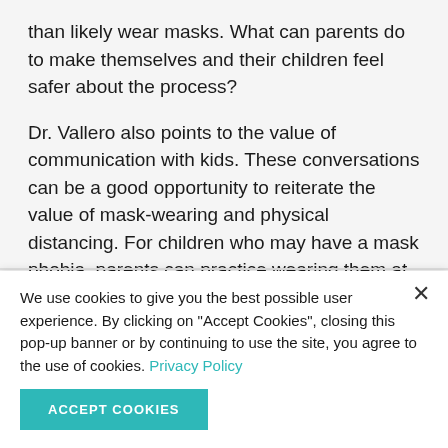than likely wear masks. What can parents do to make themselves and their children feel safer about the process?
Dr. Vallero also points to the value of communication with kids. These conversations can be a good opportunity to reiterate the value of mask-wearing and physical distancing. For children who may have a mask phobia, parents can practice wearing them at home and during
We use cookies to give you the best possible user experience. By clicking on "Accept Cookies", closing this pop-up banner or by continuing to use the site, you agree to the use of cookies. Privacy Policy
ACCEPT COOKIES